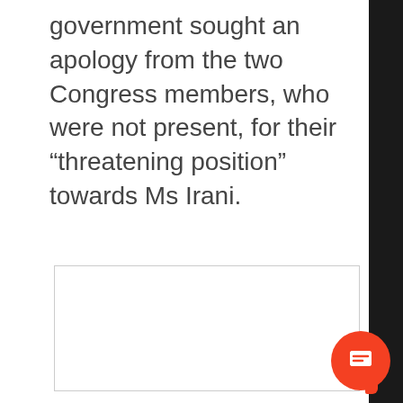government sought an apology from the two Congress members, who were not present, for their “threatening position” towards Ms Irani.
[Figure (other): Empty white box placeholder for an image or embedded content]